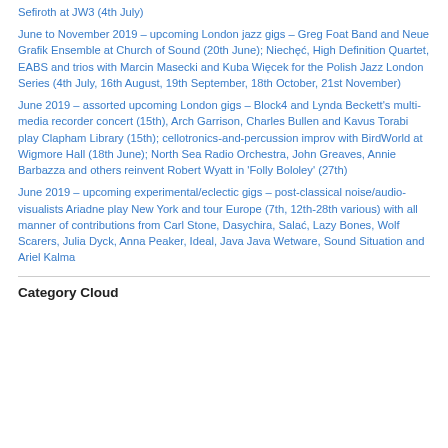Sefiroth at JW3 (4th July)
June to November 2019 – upcoming London jazz gigs – Greg Foat Band and Neue Grafik Ensemble at Church of Sound (20th June); Niechęć, High Definition Quartet, EABS and trios with Marcin Masecki and Kuba Więcek for the Polish Jazz London Series (4th July, 16th August, 19th September, 18th October, 21st November)
June 2019 – assorted upcoming London gigs – Block4 and Lynda Beckett's multi-media recorder concert (15th), Arch Garrison, Charles Bullen and Kavus Torabi play Clapham Library (15th); cellotronics-and-percussion improv with BirdWorld at Wigmore Hall (18th June); North Sea Radio Orchestra, John Greaves, Annie Barbazza and others reinvent Robert Wyatt in 'Folly Bololey' (27th)
June 2019 – upcoming experimental/eclectic gigs – post-classical noise/audio-visualists Ariadne play New York and tour Europe (7th, 12th-28th various) with all manner of contributions from Carl Stone, Dasychira, Salać, Lazy Bones, Wolf Scarers, Julia Dyck, Anna Peaker, Ideal, Java Java Wetware, Sound Situation and Ariel Kalma
Category Cloud